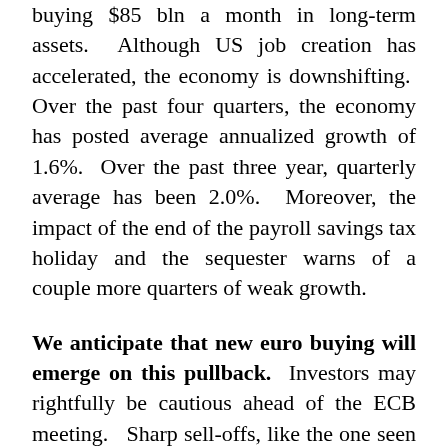buying $85 bln a month in long-term assets. Although US job creation has accelerated, the economy is downshifting. Over the past four quarters, the economy has posted average annualized growth of 1.6%. Over the past three year, quarterly average has been 2.0%. Moreover, the impact of the end of the payroll savings tax holiday and the sequester warns of a couple more quarters of weak growth.
We anticipate that new euro buying will emerge on this pullback. Investors may rightfully be cautious ahead of the ECB meeting. Sharp sell-offs, like the one seen Monday, are rarely a one-day phenomenon. Technically, there seems to be scope for euro losses toward $1.34.